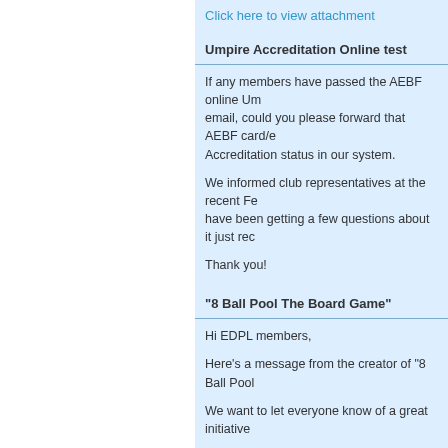Click here to view attachment
Umpire Accreditation Online test
If any members have passed the AEBF online Umpire Accreditation test via email, could you please forward that AEBF card/email to us to update your Accreditation status in our system.
We informed club representatives at the recent February meeting but we have been getting a few questions about it just recently.
Thank you!
"8 Ball Pool The Board Game"
Hi EDPL members,
Here’s a message from the creator of "8 Ball Pool
We want to let everyone know of a great initiative
Cue sports has suffered for many years and one of the roots for success of any sport are getting families and kids under teenage years.
Hence, all the promotion happening is basically ta... time kids have gotten to that age, they are already reluctant to introduce the wonderful game to their